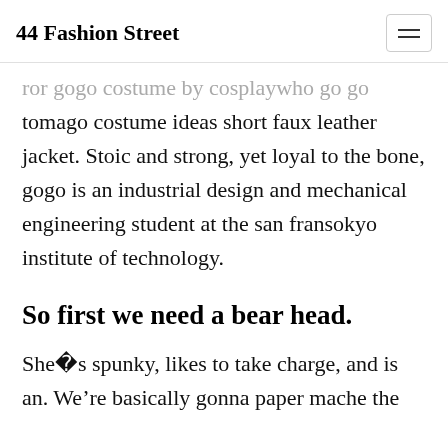44 Fashion Street
ror gogo costume by cosplaywho go go tomago costume ideas short faux leather jacket. Stoic and strong, yet loyal to the bone, gogo is an industrial design and mechanical engineering student at the san fransokyo institute of technology.
So first we need a bear head.
She�s spunky, likes to take charge, and is an. We're basically gonna paper mache the